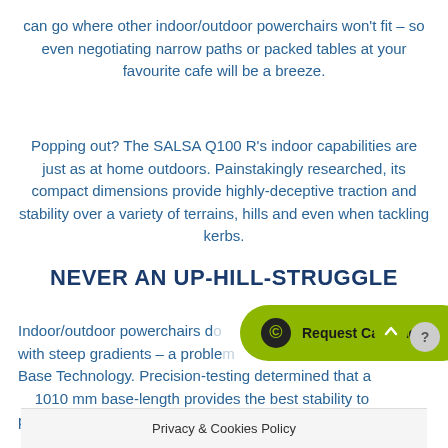can go where other indoor/outdoor powerchairs won't fit – so even negotiating narrow paths or packed tables at your favourite cafe will be a breeze.
Popping out? The SALSA Q100 R's indoor capabilities are just as at home outdoors. Painstakingly researched, its compact dimensions provide highly-deceptive traction and stability over a variety of terrains, hills and even when tackling kerbs.
NEVER AN UP-HILL-STRUGGLE
Indoor/outdoor powerchairs do [partially obscured] with steep gradients – a proble[m solved by] Base Technology. Precision-testing determined that a 1010 mm base-length provides the best stability to prevent tipping and ke[ep you safe] travelling up [hill].
Privacy & Cookies Policy